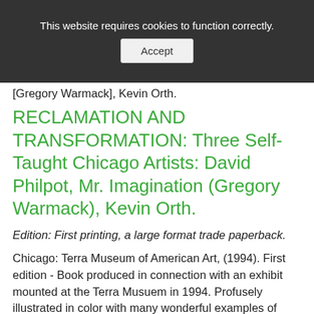This website requires cookies to function correctly. Accept
[Gregory Warmack], Kevin Orth.
RECLAMATION AND TRANSFORMATION: Three Self-Taught Chicago Artists: David Philpot, Mr. Imagination (Gregory Warmack), Kevin Orth.
Edition: First printing, a large format trade paperback.
Chicago: Terra Museum of American Art, (1994). First edition - Book produced in connection with an exhibit mounted at the Terra Musuem in 1994. Profusely illustrated in color with many wonderful examples of "outsider art" of fascinating originality. The informative essays by Tom Patterson gives each artist a chance to describe their art in their own words. Includes a chronology of each artist, and a checklist of the